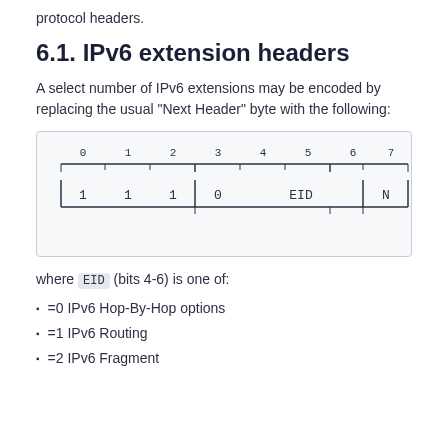This is used to encode selected IPv6 extensions or L4 protocol headers.
6.1. IPv6 extension headers
A select number of IPv6 extensions may be encoded by replacing the usual “Next Header” byte with the following:
[Figure (schematic): Bit diagram showing an 8-bit field (bits 0-7) with fields: bits 0-2 = 1 1 1, bit 3 = 0, bits 4-6 = EID, bit 7 = N]
where EID (bits 4-6) is one of:
=0 IPv6 Hop-By-Hop options
=1 IPv6 Routing
=2 IPv6 Fragment